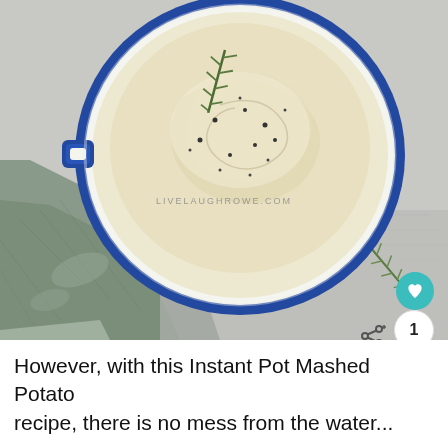[Figure (photo): Overhead photo of creamy mashed potatoes in a white and blue casserole dish with a sprig of rosemary on top and black pepper, on a grey surface with a sage green linen cloth to the left, rosemary sprig on the right, with watermark text LIVELAUGHROWE.COM in the center. A teal heart button and a count badge (1) and a share icon are overlaid on the lower right.]
However, with this Instant Pot Mashed Potato recipe, there is no mess from the water...